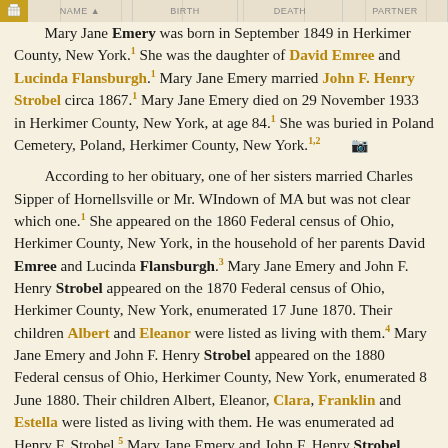[Column headers row with icon]
Mary Jane Emery was born in September 1849 in Herkimer County, New York.1 She was the daughter of David Emree and Lucinda Flansburgh.1 Mary Jane Emery married John F. Henry Strobel circa 1867.1 Mary Jane Emery died on 29 November 1933 in Herkimer County, New York, at age 84.1 She was buried in Poland Cemetery, Poland, Herkimer County, New York.1,2 [camera icon]
According to her obituary, one of her sisters married Charles Sipper of Hornellsville or Mr. WIndown of MA but was not clear which one.1 She appeared on the 1860 Federal census of Ohio, Herkimer County, New York, in the household of her parents David Emree and Lucinda Flansburgh.3 Mary Jane Emery and John F. Henry Strobel appeared on the 1870 Federal census of Ohio, Herkimer County, New York, enumerated 17 June 1870. Their children Albert and Eleanor were listed as living with them.4 Mary Jane Emery and John F. Henry Strobel appeared on the 1880 Federal census of Ohio, Herkimer County, New York, enumerated 8 June 1880. Their children Albert, Eleanor, Clara, Franklin and Estella were listed as living with them. He was enumerated ad Henry F. Strobel.5 Mary Jane Emery and John F. Henry Strobel appeared on the 1900 Federal census of Ohio, Herkimer County, New York, enumerated 11 June 1900. Their children Maude M. and Myrtle were listed as living with them.6